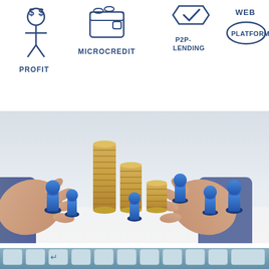[Figure (illustration): Hand-drawn style illustration showing P2P lending concepts with icons and labels: a figure with dollar signs (PROFIT), a wallet (MICROCREDIT), a checkmark (P2P-LENDING), a circled text (WEB PLATFORM)]
[Figure (photo): Photograph of two hands cupped around stacks of gold coins arranged in ascending height with blue board game pawn figures placed between and around the coin stacks on a white surface, representing crowd-funding or P2P lending]
[Figure (photo): Close-up photograph of a blue/teal computer keyboard with a key showing an arrow/enter symbol, partially visible at the bottom of the page]